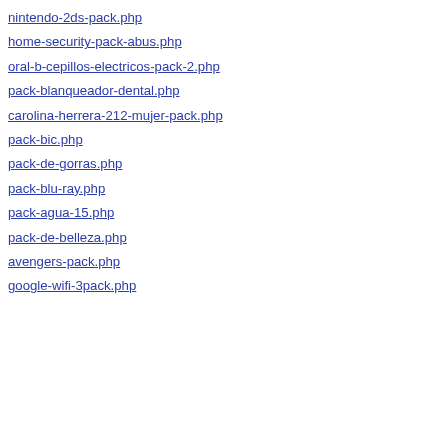nintendo-2ds-pack.php
home-security-pack-abus.php
oral-b-cepillos-electricos-pack-2.php
pack-blanqueador-dental.php
carolina-herrera-212-mujer-pack.php
pack-bic.php
pack-de-gorras.php
pack-blu-ray.php
pack-agua-15.php
pack-de-belleza.php
avengers-pack.php
google-wifi-3pack.php